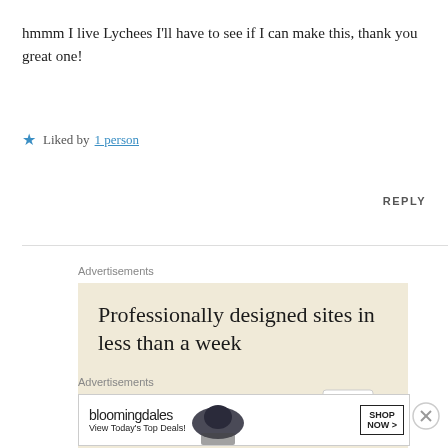hmmm I live Lychees I'll have to see if I can make this, thank you great one!
★ Liked by 1 person
REPLY
Advertisements
[Figure (screenshot): Advertisement banner with beige background: 'Professionally designed sites in less than a week' with document/card graphics]
Advertisements
[Figure (screenshot): Bloomingdale's advertisement banner: logo, 'View Today's Top Deals!', woman with hat, 'SHOP NOW >' button]